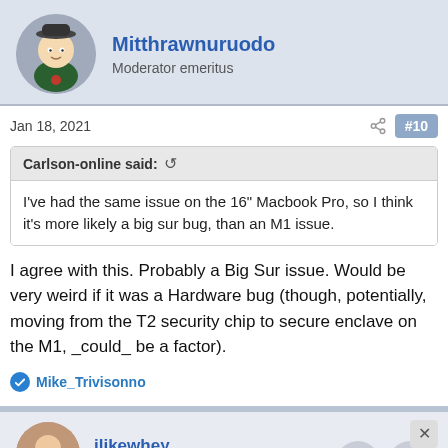Mitthrawnuruodo
Moderator emeritus
Jan 18, 2021
#10
Carlson-online said: ↺
I've had the same issue on the 16" Macbook Pro, so I think it's more likely a big sur bug, than an M1 issue.
I agree with this. Probably a Big Sur issue. Would be very weird if it was a Hardware bug (though, potentially, moving from the T2 security chip to secure enclave on the M1, _could_ be a factor).
Mike_Trivisonno
ilikewhey
macrumors 68030